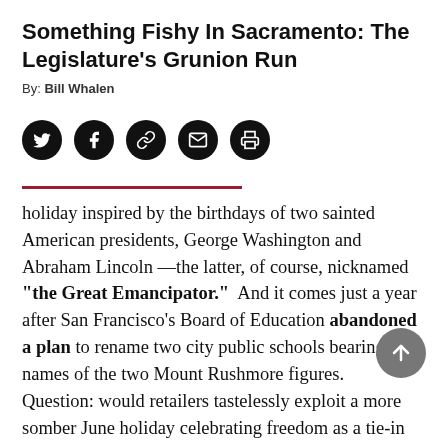Something Fishy In Sacramento: The Legislature's Grunion Run
By: Bill Whalen
[Figure (other): Row of five social sharing icon buttons: Twitter, Facebook, Link/Copy, Email, Print — all black circles with white icons]
holiday inspired by the birthdays of two sainted American presidents, George Washington and Abraham Lincoln —the latter, of course, nicknamed "the Great Emancipator."  And it comes just a year after San Francisco's Board of Education abandoned a plan to rename two city public schools bearing the names of the two Mount Rushmore figures.
Question: would retailers tastelessly exploit a more somber June holiday celebrating freedom as a tie-in